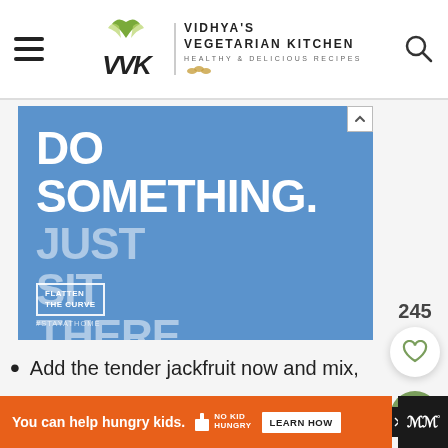Vidhya's Vegetarian Kitchen — Healthy & Delicious Recipes
[Figure (screenshot): Blue advertisement with text 'DO SOMETHING. JUST SIT THERE.' and Flatten the Curve logo at bottom left, #StayAtHome hashtag]
Add the tender jackfruit now and mix,
You can help hungry kids. No Kid Hungry. LEARN HOW